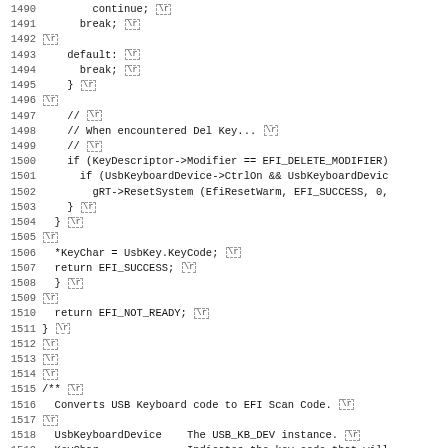Source code listing lines 1490-1522 showing C/EFI keyboard driver code
[Figure (screenshot): Code listing with line numbers 1490-1522 showing C source code for USB keyboard EFI driver, including switch/case break statements, Del Key handling with EFI_DELETE_MODIFIER check, ResetSystem call, KeyChar assignment, return statements, and start of Doxygen comment for USB Keyboard code to EFI Scan Code conversion function]